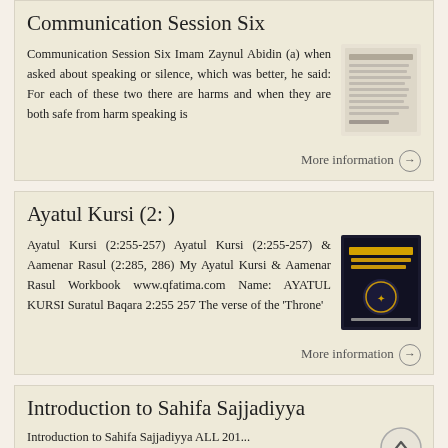Communication Session Six
Communication Session Six Imam Zaynul Abidin (a) when asked about speaking or silence, which was better, he said: For each of these two there are harms and when they are both safe from harm speaking is
More information →
Ayatul Kursi (2: )
Ayatul Kursi (2:255-257) Ayatul Kursi (2:255-257) & Aamenar Rasul (2:285, 286) My Ayatul Kursi & Aamenar Rasul Workbook www.qfatima.com Name: AYATUL KURSI Suratul Baqara 2:255 257 The verse of the 'Throne'
More information →
Introduction to Sahifa Sajjadiyya
Introduction to Sahifa Sajjadiyya ALL 201...